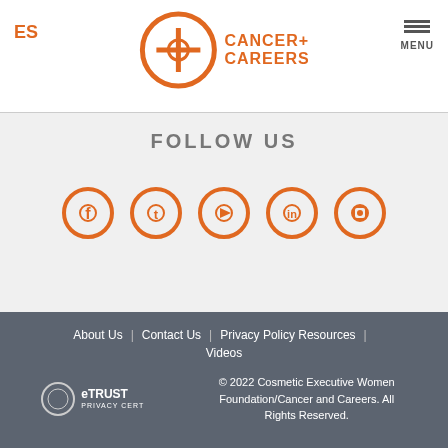ES | Cancer + Careers | MENU
FOLLOW US
[Figure (illustration): Five social media icons in orange circle style: Facebook, Twitter, YouTube, LinkedIn, Instagram]
About Us | Contact Us | Privacy Policy Resources | Videos
eTRUST PRIVACY CERT
© 2022 Cosmetic Executive Women Foundation/Cancer and Careers. All Rights Reserved.